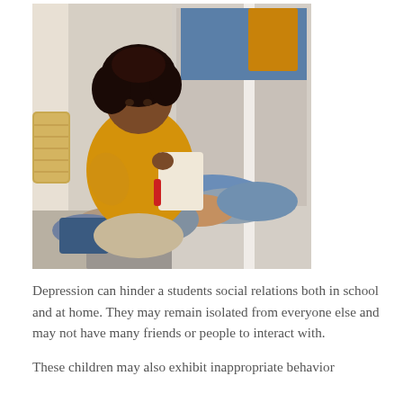[Figure (photo): A young child with curly hair wearing a yellow hoodie sits on the floor in front of a messy open wardrobe/closet overflowing with clothes. The child holds a red marker and appears to be drawing or writing on a piece of paper.]
Depression can hinder a students social relations both in school and at home. They may remain isolated from everyone else and may not have many friends or people to interact with.
These children may also exhibit inappropriate behavior